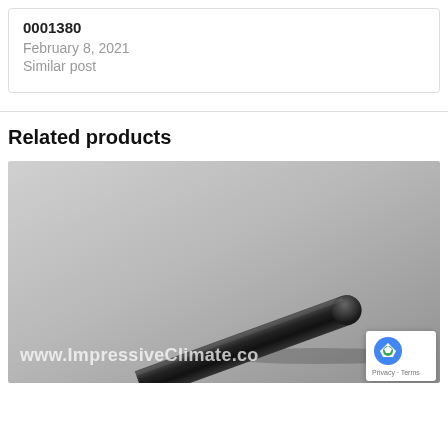0001380
February 8, 2021
Similar post
Related products
[Figure (photo): A black cylindrical tube/pen-like product on a grey background, with watermark text 'www.ImpressiveClimate.com']